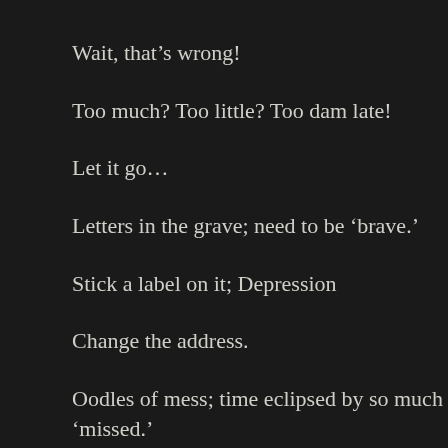Wait, that’s wrong!
Too much? Too little? Too dam late!
Let it go…
Letters in the grave; need to be ‘brave.’
Stick a label on it; Depression
Change the address.
Oodles of mess; time eclipsed by so much ‘missed.’